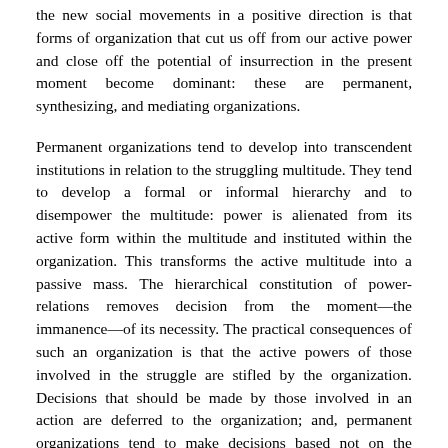the new social movements in a positive direction is that forms of organization that cut us off from our active power and close off the potential of insurrection in the present moment become dominant: these are permanent, synthesizing, and mediating organizations.
Permanent organizations tend to develop into transcendent institutions in relation to the struggling multitude. They tend to develop a formal or informal hierarchy and to disempower the multitude: power is alienated from its active form within the multitude and instituted within the organization. This transforms the active multitude into a passive mass. The hierarchical constitution of power-relations removes decision from the moment—the immanence—of its necessity. The practical consequences of such an organization is that the active powers of those involved in the struggle are stifled by the organization. Decisions that should be made by those involved in an action are deferred to the organization; and, permanent organizations tend to make decisions based not on the necessity of a specific goal or action, but on the needs of that organization, especially its preservation. The organization becomes an end in itself.
As an organization moves towards permanence and comes to stand above the multitude, the organizer appears, often claiming to have created the struggle, and begins to speak for the mass. It is